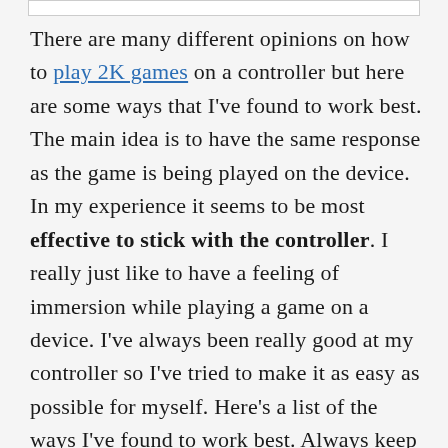There are many different opinions on how to play 2K games on a controller but here are some ways that I've found to work best. The main idea is to have the same response as the game is being played on the device. In my experience it seems to be most effective to stick with the controller. I really just like to have a feeling of immersion while playing a game on a device. I've always been really good at my controller so I've tried to make it as easy as possible for myself. Here's a list of the ways I've found to work best. Always keep the controller in your hands. When you hold the